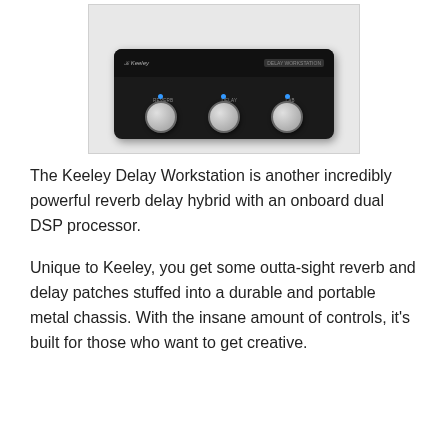[Figure (photo): Photo of the Keeley Delay Workstation guitar pedal — a black rectangular metal box with three chrome footswitches, blue LED indicators, and knobs on top, shown against a white/light gray background.]
The Keeley Delay Workstation is another incredibly powerful reverb delay hybrid with an onboard dual DSP processor.
Unique to Keeley, you get some outta-sight reverb and delay patches stuffed into a durable and portable metal chassis. With the insane amount of controls, it’s built for those who want to get creative.